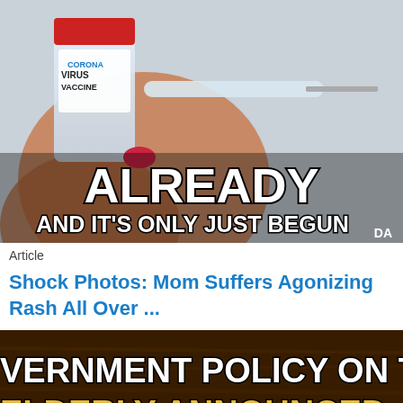[Figure (photo): Photo of a coronavirus vaccine vial and syringe being held by gloved hands, with bold white text overlay reading 'ALREADY' and 'AND IT'S ONLY JUST BEGUN' and 'DA' watermark in corner]
Article
Shock Photos: Mom Suffers Agonizing Rash All Over ...
[Figure (photo): Dark background image with bold text reading 'VERNMENT POLICY ON TH' and 'ELDERLY ANNOUNCED' in yellow/gold on brown textured background]